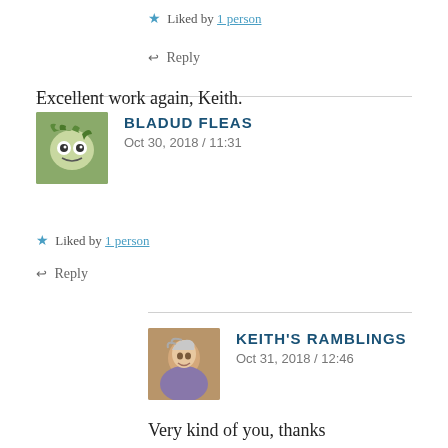★ Liked by 1 person
↩ Reply
BLADUD FLEAS
Oct 30, 2018 / 11:31
Excellent work again, Keith.
★ Liked by 1 person
↩ Reply
KEITH'S RAMBLINGS
Oct 31, 2018 / 12:46
Very kind of you, thanks